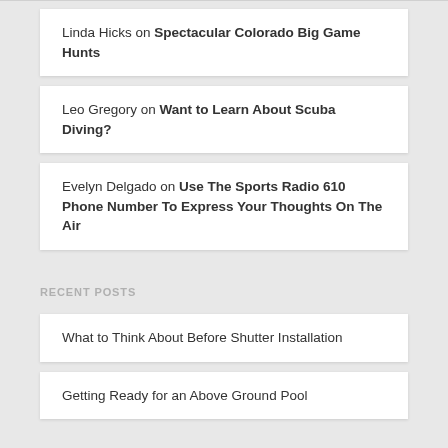Linda Hicks on Spectacular Colorado Big Game Hunts
Leo Gregory on Want to Learn About Scuba Diving?
Evelyn Delgado on Use The Sports Radio 610 Phone Number To Express Your Thoughts On The Air
RECENT POSTS
What to Think About Before Shutter Installation
Getting Ready for an Above Ground Pool